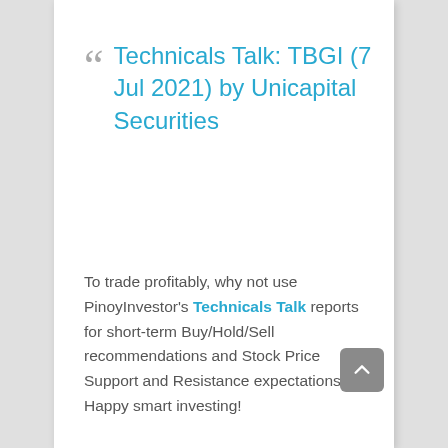Technicals Talk: TBGI (7 Jul 2021) by Unicapital Securities
To trade profitably, why not use PinoyInvestor's Technicals Talk reports for short-term Buy/Hold/Sell recommendations and Stock Price Support and Resistance expectations? Happy smart investing!